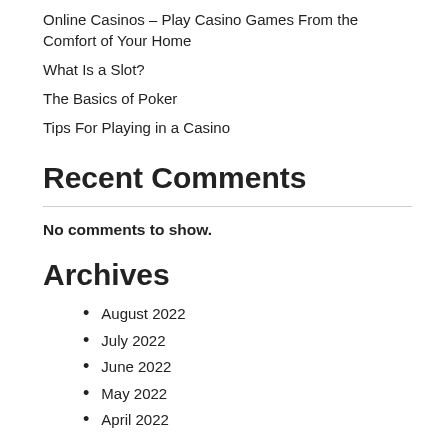Online Casinos – Play Casino Games From the Comfort of Your Home
What Is a Slot?
The Basics of Poker
Tips For Playing in a Casino
Recent Comments
No comments to show.
Archives
August 2022
July 2022
June 2022
May 2022
April 2022